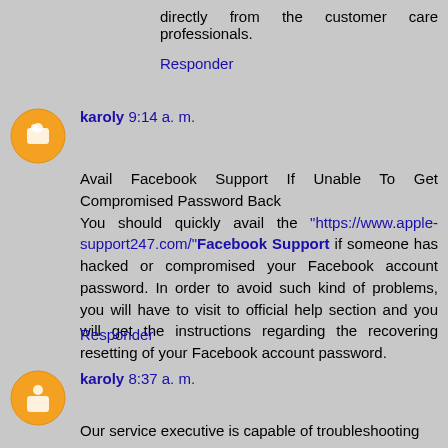directly from the customer care professionals.
Responder
karoly 9:14 a. m.
Avail Facebook Support If Unable To Get Compromised Password Back
You should quickly avail the "https://www.apple-support247.com/"Facebook Support if someone has hacked or compromised your Facebook account password. In order to avoid such kind of problems, you will have to visit to official help section and you will get the instructions regarding the recovering resetting of your Facebook account password.
Responder
karoly 8:37 a. m.
Our service executive is capable of troubleshooting